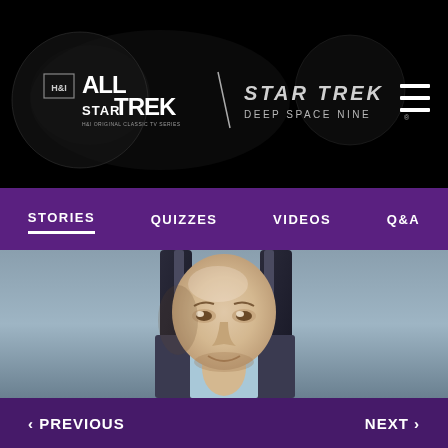[Figure (logo): H&I All Star Trek logo combined with Star Trek Deep Space Nine logo on black background with hamburger menu icon]
STORIES   QUIZZES   VIDEOS   Q&A
[Figure (photo): Close-up photo of a man's face looking upward, seated in a chair, from Star Trek episode]
< PREVIOUS
NEXT >